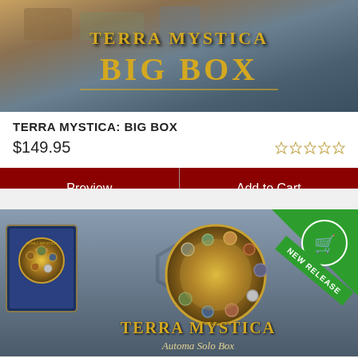[Figure (photo): Terra Mystica Big Box product image with golden title text on dark background]
TERRA MYSTICA: BIG BOX
$149.95
Preview | Add to Cart
[Figure (photo): Terra Mystica Automa Solo Box product image with blue box art, golden medallion, and NEW RELEASE green ribbon badge]